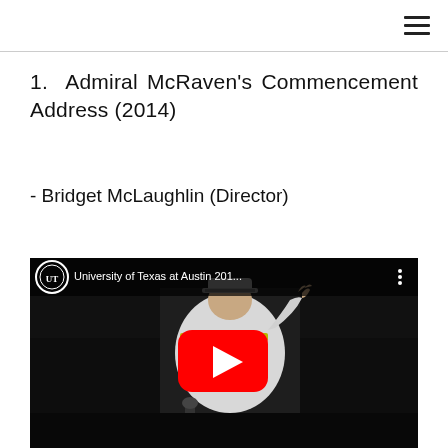1.  Admiral McRaven's Commencement Address (2014)
- Bridget McLaughlin (Director)
[Figure (screenshot): Embedded YouTube video thumbnail showing Admiral McRaven in white military uniform at a podium, making a hand gesture. The YouTube overlay shows the University of Texas at Austin UT logo and title 'University of Texas at Austin 201...' with a red play button in the center.]